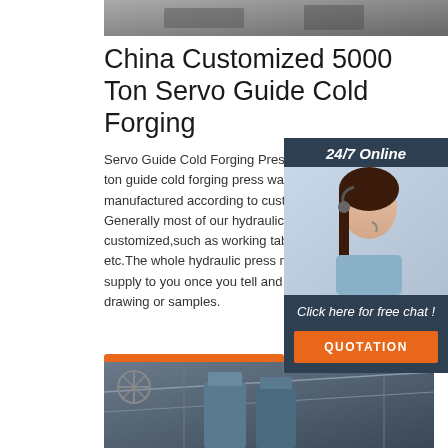[Figure (photo): Top portion of industrial machinery/forging press photo, partially visible at top of page]
China Customized 5000 Ton Servo Guide Cold Forging
Servo Guide Cold Forging Press Advantages. ton guide cold forging press was designed and manufactured according to customer's metal p Generally most of our hydraulic press are customized,such as working table, stroke,ope etc.The whole hydraulic press machine solutio supply to you once you tell and send us your p drawing or samples.
[Figure (photo): Customer service representative with headset, 24/7 Online chat widget with dark navy background, orange QUOTATION button]
[Figure (illustration): Orange TOP logo/button with arrow pointing up made of dots]
[Figure (photo): Industrial machinery in a warehouse/factory setting - large blue cylindrical machines visible]